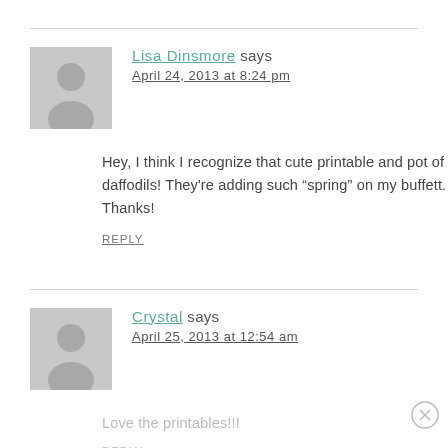Lisa Dinsmore says
April 24, 2013 at 8:24 pm
Hey, I think I recognize that cute printable and pot of daffodils! They’re adding such “spring” on my buffett. Thanks!
REPLY
Crystal says
April 25, 2013 at 12:54 am
Love the printables!!!
REPLY